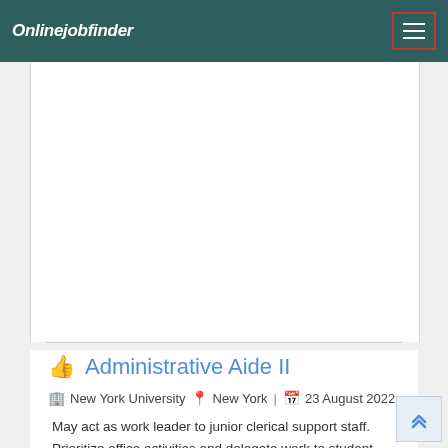Onlinejobfinder
[Figure (other): Advertisement or blank white space area within the content card]
Administrative Aide II
New York University  New York | 23 August 2022
May act as work leader to junior clerical support staff.
Prioritize office activities and delegate work to student